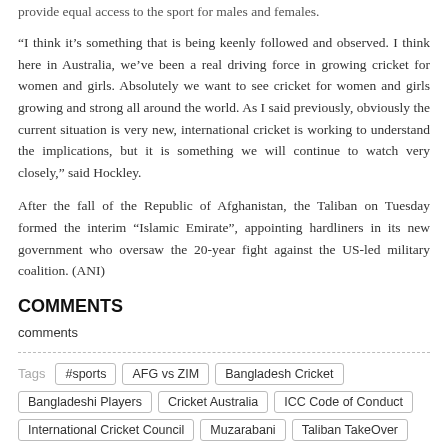provide equal access to the sport for males and females.
“I think it’s something that is being keenly followed and observed. I think here in Australia, we’ve been a real driving force in growing cricket for women and girls. Absolutely we want to see cricket for women and girls growing and strong all around the world. As I said previously, obviously the current situation is very new, international cricket is working to understand the implications, but it is something we will continue to watch very closely,” said Hockley.
After the fall of the Republic of Afghanistan, the Taliban on Tuesday formed the interim “Islamic Emirate”, appointing hardliners in its new government who oversaw the 20-year fight against the US-led military coalition. (ANI)
COMMENTS
comments
Tags  #sports  AFG vs ZIM  Bangladesh Cricket  Bangladeshi Players  Cricket Australia  ICC Code of Conduct  International Cricket Council  Muzarabani  Taliban TakeOver